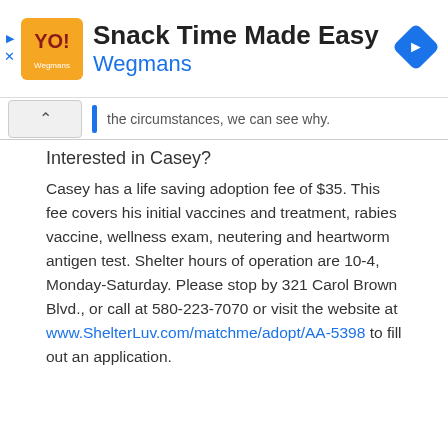[Figure (screenshot): Ad banner for Wegmans 'Snack Time Made Easy' with logo and navigation icon]
the circumstances, we can see why.
Interested in Casey?
Casey has a life saving adoption fee of $35. This fee covers his initial vaccines and treatment, rabies vaccine, wellness exam, neutering and heartworm antigen test. Shelter hours of operation are 10-4, Monday-Saturday. Please stop by 321 Carol Brown Blvd., or call at 580-223-7070 or visit the website at www.ShelterLuv.com/matchme/adopt/AA-5398 to fill out an application.